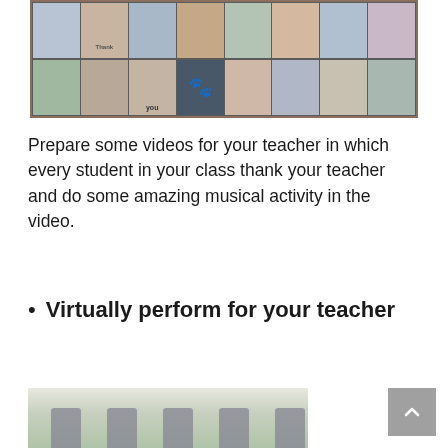[Figure (photo): Grid of children holding thank-you signs, displayed in a video call / collage format with a paw print icon overlay]
Prepare some videos for your teacher in which every student in your class thank your teacher and do some amazing musical activity in the video.
Virtually perform for your teacher
[Figure (photo): Children wearing masks in a classroom setting]